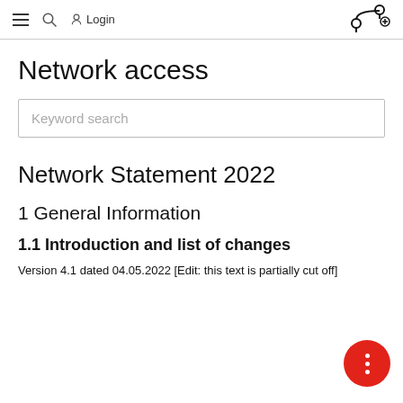≡  🔍  Login  [nav logo]
Network access
Keyword search
Network Statement 2022
1 General Information
1.1 Introduction and list of changes
Version 4.1 dated 04.05.2022 [Edit: this text is partially cut off]